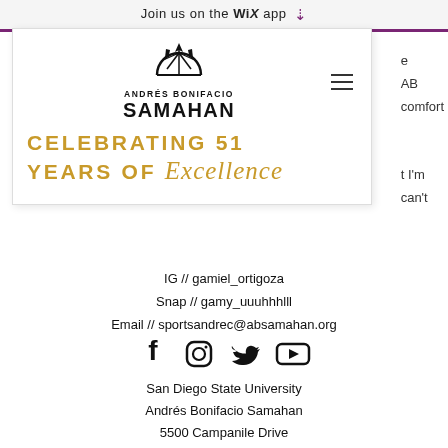Join us on the WiX app ↓
[Figure (logo): Andres Bonifacio Samahan logo with decorative wheel/crown emblem above organization name]
CELEBRATING 51 YEARS OF Excellence
IG // gamiel_ortigoza
Snap // gamy_uuuhhhlll
Email // sportsandrec@absamahan.org
[Figure (illustration): Social media icons: Facebook, Instagram, Twitter, YouTube]
San Diego State University
Andrés Bonifacio Samahan
5500 Campanile Drive
San Diego, CA 92182
Office: 210D